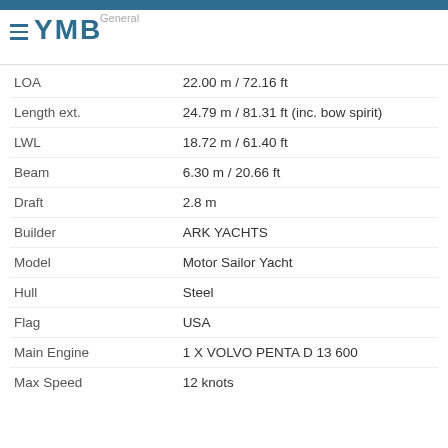General
[Figure (logo): YMB logo with hamburger menu icon and anchor-styled letters]
| Specification | Value |
| --- | --- |
| LOA | 22.00 m / 72.16 ft |
| Length ext. | 24.79 m / 81.31 ft (inc. bow spirit) |
| LWL | 18.72 m / 61.40 ft |
| Beam | 6.30 m / 20.66 ft |
| Draft | 2.8 m |
| Builder | ARK YACHTS |
| Model | Motor Sailor Yacht |
| Hull | Steel |
| Flag | USA |
| Main Engine | 1 X VOLVO PENTA D 13 600 |
| Max Speed | 12 knots |